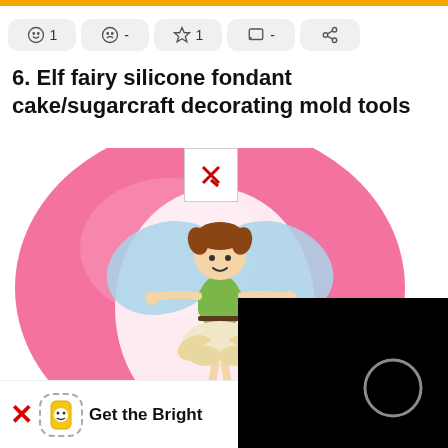[Figure (other): Top interaction bar with emoji buttons: smiley face with '1', sad face with '-', star with '1', chat bubble with '-', share icon]
6. Elf fairy silicone fondant cake/sugarcraft decorating mold tools
[Figure (photo): Photo of a pink silicone mold with a 3D elf fairy figurine on it. The fairy has brown hair in pigtails, blue butterfly wings, a green top, and a white petal skirt. Bottom right corner shows a black panel with a faint crescent circle shape and a small white/red X button overlay.]
[Figure (other): Bottom left banner with red X, dashed phone icon with smiley face, and text 'Get the Bright']